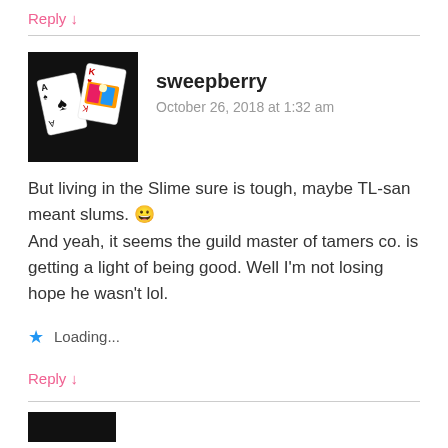Reply ↓
sweepberry
October 26, 2018 at 1:32 am
But living in the Slime sure is tough, maybe TL-san meant slums. 😀
And yeah, it seems the guild master of tamers co. is getting a light of being good. Well I'm not losing hope he wasn't lol.
Loading...
Reply ↓